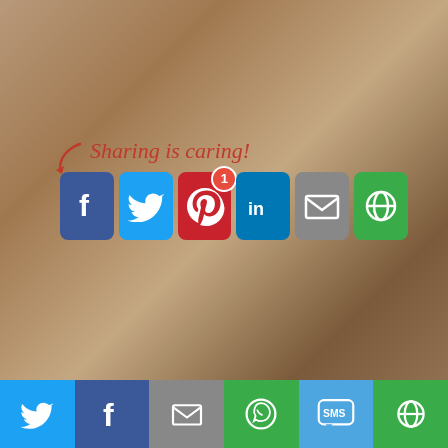[Figure (photo): Top portion of a photo showing a dog or pet scene with warm tones]
You can find the crates at Amazon, BedBathandBeyond, and Home Depot. Happy Organizing.
[Figure (infographic): Sharing is caring! section with social media share buttons: Facebook, Twitter, Pinterest (with badge 1), LinkedIn, Email, More options]
FILED UNDER: REVIEW
TAGGED WITH: DECLUTTER, ORGANIZE, REVIEW
GET TO KNOW AJ
[Figure (infographic): Bottom bar with social media icons: Twitter, Facebook, Email, WhatsApp, SMS, More]